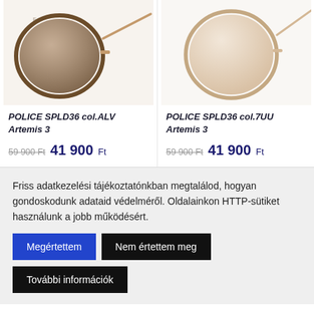[Figure (photo): Product photo of POLICE SPLD36 col.ALV Artemis 3 sunglasses - brown tinted round frame, top-down angled view on white/beige background]
[Figure (photo): Product photo of POLICE SPLD36 col.7UU Artemis 3 sunglasses - beige/champagne tinted round frame, top-down angled view on white background]
POLICE SPLD36 col.ALV Artemis 3
59 900 Ft  41 900 Ft
POLICE SPLD36 col.7UU Artemis 3
59 900 Ft  41 900 Ft
Friss adatkezelési tájékoztatónkban megtalálod, hogyan gondoskodunk adataid védelméről. Oldalainkon HTTP-sütiket használunk a jobb működésért.
Megértettem
Nem értettem meg
További információk